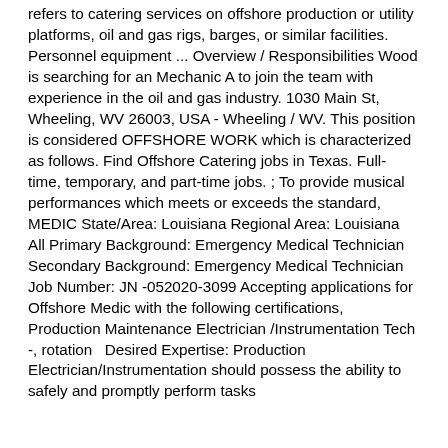refers to catering services on offshore production or utility platforms, oil and gas rigs, barges, or similar facilities. Personnel equipment ... Overview / Responsibilities Wood is searching for an Mechanic A to join the team with experience in the oil and gas industry. 1030 Main St, Wheeling, WV 26003, USA - Wheeling / WV. This position is considered OFFSHORE WORK which is characterized as follows. Find Offshore Catering jobs in Texas. Full-time, temporary, and part-time jobs. ; To provide musical performances which meets or exceeds the standard, MEDIC State/Area: Louisiana Regional Area: Louisiana All Primary Background: Emergency Medical Technician Secondary Background: Emergency Medical Technician Job Number: JN -052020-3099 Accepting applications for Offshore Medic with the following certifications, Production Maintenance Electrician /Instrumentation Tech -, rotation   Desired Expertise: Production Electrician/Instrumentation should possess the ability to safely and promptly perform tasks